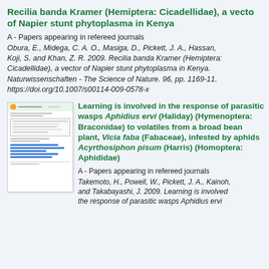Recilia banda Kramer (Hemiptera: Cicadellidae), a vector of Napier stunt phytoplasma in Kenya
A - Papers appearing in refereed journals
Obura, E., Midega, C. A. O., Masiga, D., Pickett, J. A., Hassan, Koji, S. and Khan, Z. R. 2009. Recilia banda Kramer (Hemiptera: Cicadellidae), a vector of Napier stunt phytoplasma in Kenya. Naturwissenschaften - The Science of Nature. 96, pp. 1169-11. https://doi.org/10.1007/s00114-009-0578-x
[Figure (screenshot): Thumbnail image of a document/journal article page]
Learning is involved in the response of parasitic wasps Aphidius ervi (Haliday) (Hymenoptera: Braconidae) to volatiles from a broad bean plant, Vicia faba (Fabaceae), infested by aphids Acyrthosiphon pisum (Harris) (Homoptera: Aphididae)
A - Papers appearing in refereed journals
Takemoto, H., Powell, W., Pickett, J. A., Kainoh, and Takabayashi, J. 2009. Learning is involved the response of parasitic wasps Aphidius ervi